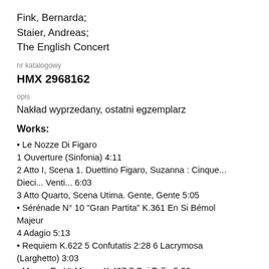Fink, Bernarda;
Staier, Andreas;
The English Concert
nr katalogowy
HMX 2968162
opis
Nakład wyprzedany, ostatni egzemplarz
Works:
• Le Nozze Di Figaro
1 Ouverture (Sinfonia) 4:11
2 Atto I, Scena 1. Duettino Figaro, Suzanna : Cinque... Dieci... Venti... 6:03
3 Atto Quarto, Scena Utima. Gente, Gente 5:05
• Sérénade N° 10 "Gran Partita" K.361 En Si Bémol Majeur
4 Adagio 5:13
• Requiem K.622 5 Confutatis 2:28 6 Lacrymosa (Larghetto) 3:03
• Messe En Ut Mineur K.427 7 Qui Tollis 5:32
• Sonate Pour Piano K. 457 En Ut Mineur